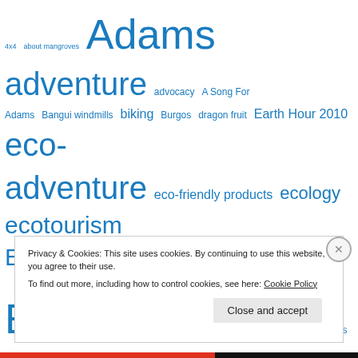[Figure (infographic): Tag cloud with various travel/environment related tags in different sizes, all in blue color. Tags include: 4x4, about mangroves, Adams, adventure, advocacy, A Song For Adams, Bangui windmills, biking, Burgos, dragon fruit, Earth Hour 2010, eco-adventure, eco-friendly products, ecology, ecotourism, Ecotourism Development, ENVIRONMENT, events, extreme sports and adventure, garbage, Green Ideas, health, Ilocano Mountain Bikers, Ilocos, Ilocos Norte, Ilocos Sandboarding, Ilocos Sand]
Privacy & Cookies: This site uses cookies. By continuing to use this website, you agree to their use.
To find out more, including how to control cookies, see here: Cookie Policy
Close and accept